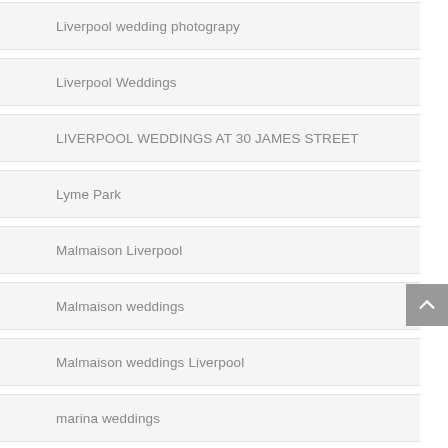Liverpool wedding photograpy
Liverpool Weddings
LIVERPOOL WEDDINGS AT 30 JAMES STREET
Lyme Park
Malmaison Liverpool
Malmaison weddings
Malmaison weddings Liverpool
marina weddings
Marriott Hotel